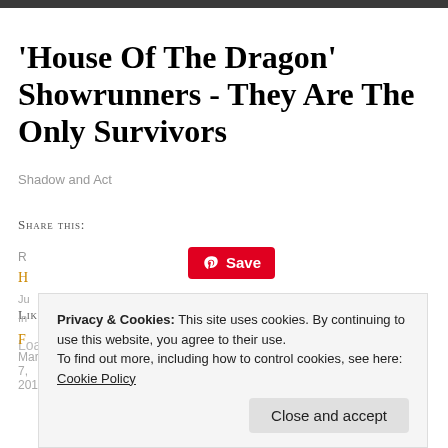[Figure (photo): Dark image strip at the top of the page]
'House Of The Dragon' Showrunners - They Are The Only Survivors
Shadow and Act
Share this:
[Figure (other): Pinterest Save button (red button with Pinterest icon and 'Save' text)]
Like this:
Loading...
R
H
Ju
In
F
March 7, 2019
Privacy & Cookies: This site uses cookies. By continuing to use this website, you agree to their use.
To find out more, including how to control cookies, see here: Cookie Policy